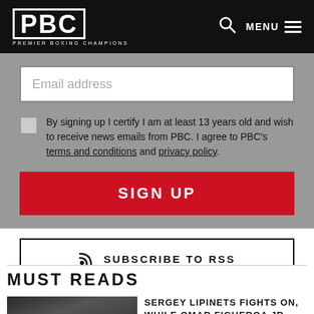PBC PREMIER BOXING CHAMPIONS
Email address
By signing up I certify I am at least 13 years old and wish to receive news emails from PBC. I agree to PBC's terms and conditions and privacy policy.
SIGN UP
SUBSCRIBE TO RSS
MUST READS
SERGEY LIPINETS FIGHTS ON, WHILE OMAR FIGUEROA JR. OPTS TO RETIRE